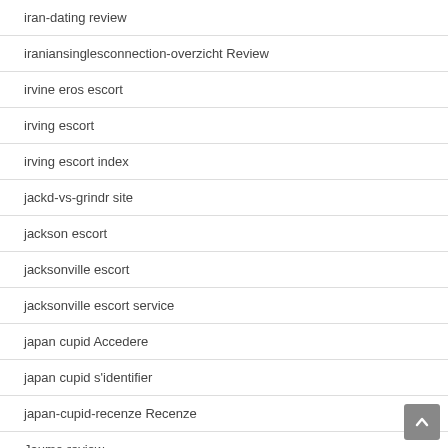iran-dating review
iraniansinglesconnection-overzicht Review
irvine eros escort
irving escort
irving escort index
jackd-vs-grindr site
jackson escort
jacksonville escort
jacksonville escort service
japan cupid Accedere
japan cupid s'identifier
japan-cupid-recenze Recenze
Jaumo review